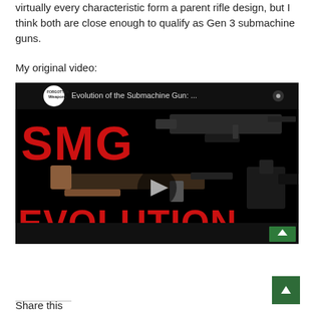virtually every characteristic form a parent rifle design, but I think both are close enough to qualify as Gen 3 submachine guns.
My original video:
[Figure (screenshot): YouTube video thumbnail for 'Evolution of the Submachine Gun: ...' by Forgotten Weapons channel. Shows SMG EVOLUTION text in red with images of various submachine guns including MP5, Tommy gun, and Uzi-style weapon. Has a play button in the center and a back-to-top arrow button in the bottom right corner.]
Share this